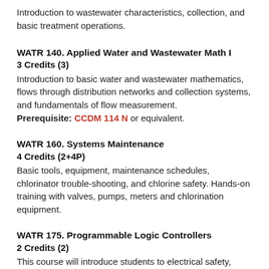Introduction to wastewater characteristics, collection, and basic treatment operations.
WATR 140. Applied Water and Wastewater Math I
3 Credits (3)
Introduction to basic water and wastewater mathematics, flows through distribution networks and collection systems, and fundamentals of flow measurement.
Prerequisite: CCDM 114 N or equivalent.
WATR 160. Systems Maintenance
4 Credits (2+4P)
Basic tools, equipment, maintenance schedules, chlorinator trouble-shooting, and chlorine safety. Hands-on training with valves, pumps, meters and chlorination equipment.
WATR 175. Programmable Logic Controllers
2 Credits (2)
This course will introduce students to electrical safety, theory, and the function, operations, programming and troubleshooting